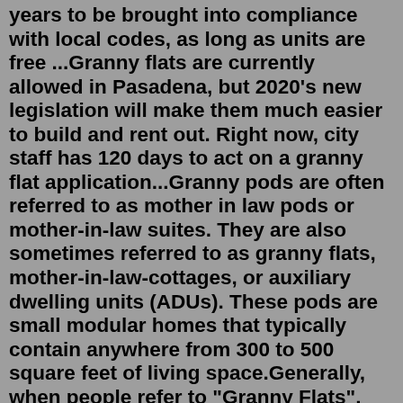years to be brought into compliance with local codes, as long as units are free ...Granny flats are currently allowed in Pasadena, but 2020's new legislation will make them much easier to build and rent out. Right now, city staff has 120 days to act on a granny flat application...Granny pods are often referred to as mother in law pods or mother-in-law suites. They are also sometimes referred to as granny flats, mother-in-law-cottages, or auxiliary dwelling units (ADUs). These pods are small modular homes that typically contain anywhere from 300 to 500 square feet of living space.Generally, when people refer to "Granny Flats", they envisage a self-contained dwelling attached to or built adjacent to a private home. However, from Centrelink's point of view, a granny flat interest may be very different from the above description. To obtain the maximum benefits available through Centrelink (now called Department of ...Secondary dwelling code. The code was prepared to facilitate a secondary dwelling, which is a small